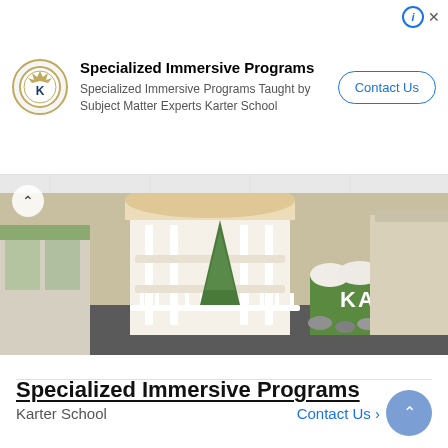Specialized Immersive Programs — Specialized Immersive Programs Taught by Subject Matter Experts Karter School — Contact Us
[Figure (photo): Interior photo of Karter School showing an immersive learning environment with decorative white Victorian-style structures, Christmas trees, floral displays, and a green hedge sign reading KARTER]
Specialized Immersive Programs
Karter School
Contact Us